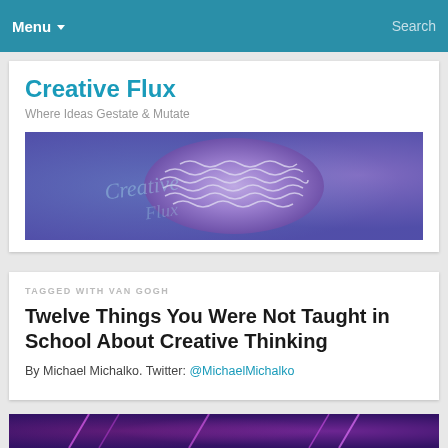Menu  Search
Creative Flux
Where Ideas Gestate & Mutate
[Figure (photo): Close-up of purple/blue coral-like brain structure with decorative script text overlay, used as website banner for Creative Flux blog]
TAGGED WITH VAN GOGH
Twelve Things You Were Not Taught in School About Creative Thinking
By Michael Michalko. Twitter: @MichaelMichalko
[Figure (photo): Abstract purple/magenta glowing lines on dark background, partially visible at bottom of page]